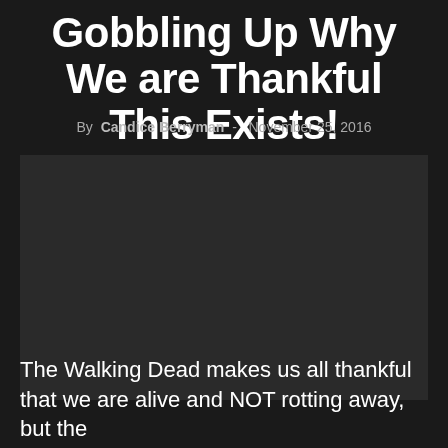Gobbling Up Why We are Thankful This Exists!
By Candice Berryman - November 25, 2016
[Figure (photo): Dark image placeholder, appears to be a scene from The Walking Dead]
The Walking Dead makes us all thankful that we are alive and NOT rotting away, but the...